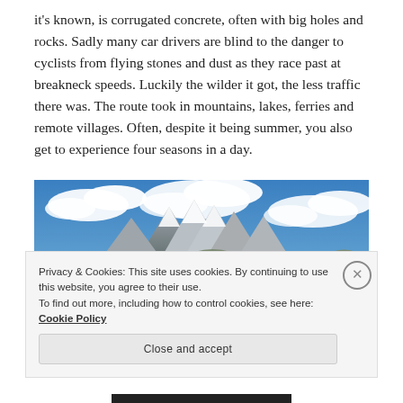it's known, is corrugated concrete, often with big holes and rocks. Sadly many car drivers are blind to the danger to cyclists from flying stones and dust as they race past at breakneck speeds. Luckily the wilder it got, the less traffic there was. The route took in mountains, lakes, ferries and remote villages. Often, despite it being summer, you also get to experience four seasons in a day.
[Figure (photo): Panoramic landscape photo showing mountain ranges with snow-capped peaks under a blue sky with white clouds, with rolling brown and green hills in the foreground.]
Privacy & Cookies: This site uses cookies. By continuing to use this website, you agree to their use.
To find out more, including how to control cookies, see here: Cookie Policy
Close and accept